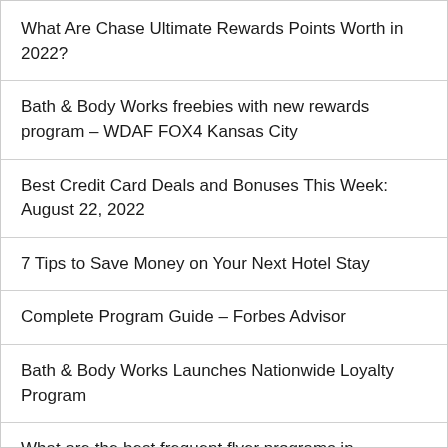What Are Chase Ultimate Rewards Points Worth in 2022?
Bath & Body Works freebies with new rewards program – WDAF FOX4 Kansas City
Best Credit Card Deals and Bonuses This Week: August 22, 2022
7 Tips to Save Money on Your Next Hotel Stay
Complete Program Guide – Forbes Advisor
Bath & Body Works Launches Nationwide Loyalty Program
What are the best frequent flyer programs in Australia?